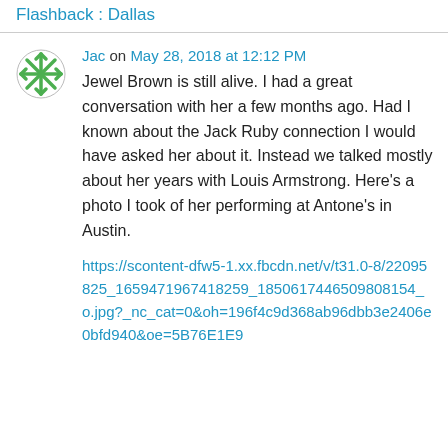Flashback : Dallas
Jac on May 28, 2018 at 12:12 PM
Jewel Brown is still alive. I had a great conversation with her a few months ago. Had I known about the Jack Ruby connection I would have asked her about it. Instead we talked mostly about her years with Louis Armstrong. Here’s a photo I took of her performing at Antone’s in Austin.
https://scontent-dfw5-1.xx.fbcdn.net/v/t31.0-8/22095825_1659471967418259_18506174465 09808154_o.jpg?_nc_cat=0&oh=196f4c9d368ab96dbb3e2406e0bfd940&oe=5B76E1E9